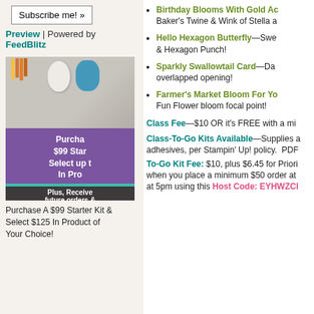Subscribe me! »
Preview | Powered by FeedBlitz
[Figure (photo): Promotional image showing crafting supplies with purple overlay text: 'Purchase $99 Starter Kit & Select up to In Product, Plus Receive future orders &']
Purchase A $99 Starter Kit & Select $125 In Product of Your Choice!
Birthday Blooms With Gold Ac— Baker's Twine & Wink of Stella a
Hello Hexagon Butterfly—Swe & Hexagon Punch!
Sparkly Swallowtail Card—Da overlapped opening!
Farmer's Market Bloom For Yo— Fun Flower bloom focal point!
Class Fee—$10 OR it's FREE with a mi
Class-To-Go Kits Available—Supplies a adhesives, per Stampin' Up! policy. PDF
To-Go Kit Fee: $10, plus $6.45 for Priori when you place a minimum $50 order at at 5pm using this Host Code: EYHWZCI